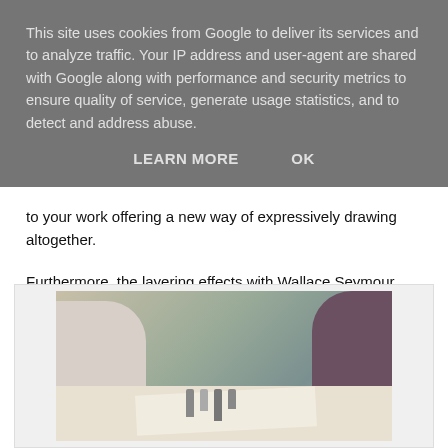This site uses cookies from Google to deliver its services and to analyze traffic. Your IP address and user-agent are shared with Google along with performance and security metrics to ensure quality of service, generate usage statistics, and to detect and address abuse.
LEARN MORE    OK
to your work offering a new way of expressively drawing altogether.
Furthermore, the layering effects with Wallace Seymour liquid graphite colours form the perfect foundation on which to build further creative expression for different types of subjects with soft 'Derwent XL Graphite blocks' which themselves are also water soluble.
[Figure (photo): Workshop scene showing people working at a table with art materials, papers, and bottles; appears to be an art or drawing workshop.]